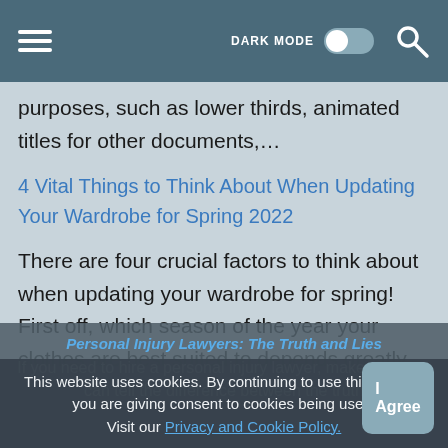DARK MODE [toggle] [search]
purposes, such as lower thirds, animated titles for other documents,…
4 Vital Things to Think About When Updating Your Wardrobe for Spring 2022
There are four crucial factors to think about when updating your wardrobe for spring! First off, which season of the year your clothes are best suited to depends greatly…
Personal Injury Lawyers: The Truth and Lies
If you need to hire a personal injury lawyer, make sure you can tell the difference between the truth
This website uses cookies. By continuing to use this website you are giving consent to cookies being used. Visit our Privacy and Cookie Policy.